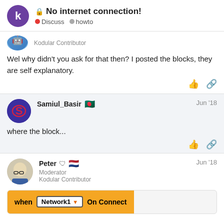No internet connection! Discuss howto
Wel why didn't you ask for that then? I posted the blocks, they are self explanatory.
Samiul_Basir Jun '18
where the block...
Peter Moderator Kodular Contributor Jun '18
[Figure (screenshot): Code block preview showing 'when Network1 On Connect' block in orange and white UI]